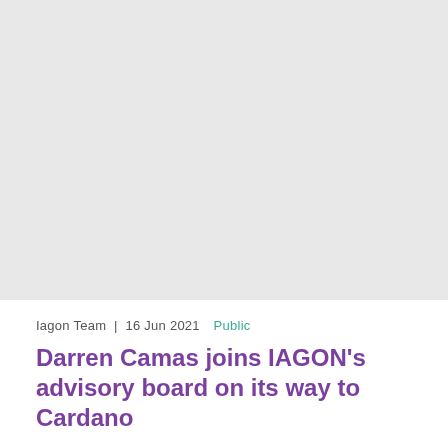[Figure (photo): Large gray placeholder image area at the top of the article page]
Iagon Team | 16 Jun 2021  Public
Darren Camas joins IAGON's advisory board on its way to Cardano
We are happy to announce that Blockchain industry